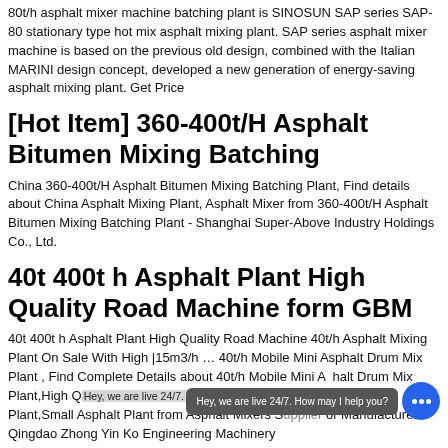80t/h asphalt mixer machine batching plant is SINOSUN SAP series SAP-80 stationary type hot mix asphalt mixing plant. SAP series asphalt mixer machine is based on the previous old design, combined with the Italian MARINI design concept, developed a new generation of energy-saving asphalt mixing plant. Get Price
[Hot Item] 360-400t/H Asphalt Bitumen Mixing Batching
China 360-400t/H Asphalt Bitumen Mixing Batching Plant, Find details about China Asphalt Mixing Plant, Asphalt Mixer from 360-400t/H Asphalt Bitumen Mixing Batching Plant - Shanghai Super-Above Industry Holdings Co., Ltd.
40t 400t h Asphalt Plant High Quality Road Machine form GBM
40t 400t h Asphalt Plant High Quality Road Machine 40t/h Asphalt Mixing Plant On Sale With High |15m3/h … 40t/h Mobile Mini Asphalt Drum Mix Plant , Find Complete Details about 40t/h Mobile Mini Asphalt Drum Mix Plant,High Quality … Small Asphalt Mixing Plant,Small Asphalt Plant from Asphalt Mixers Supplier or Manufacturer-Qingdao Zhong Yin Ko Engineering Machinery